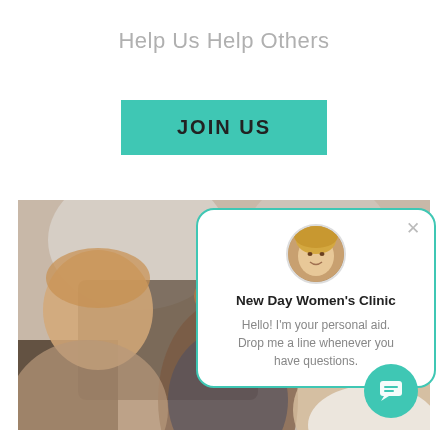Help Us Help Others
JOIN US
[Figure (photo): A woman with two young children/babies in a home setting, blurred background]
New Day Women's Clinic
Hello! I'm your personal aid. Drop me a line whenever you have questions.